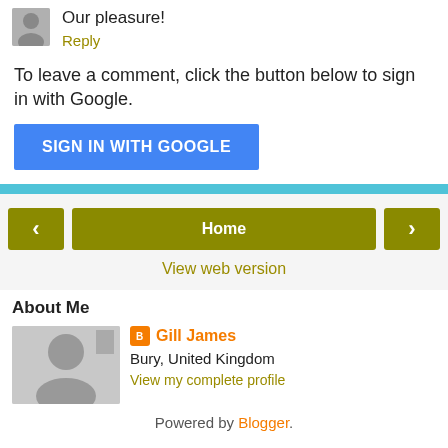[Figure (photo): Small avatar photo of a person]
Our pleasure!
Reply
To leave a comment, click the button below to sign in with Google.
SIGN IN WITH GOOGLE
< Home >
View web version
About Me
[Figure (photo): Profile photo of Gill James, a woman with glasses]
Gill James
Bury, United Kingdom
View my complete profile
Powered by Blogger.